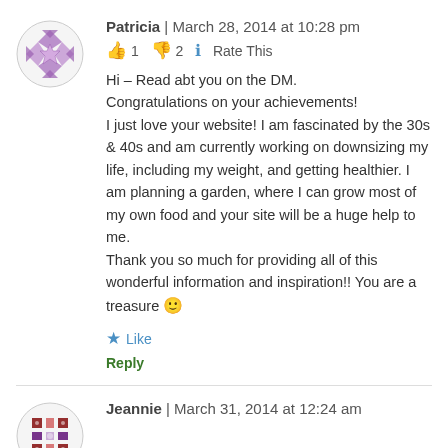[Figure (illustration): Purple geometric/quilt-pattern avatar for commenter Patricia]
Patricia | March 28, 2014 at 10:28 pm
👍 1 👎 2 ℹ Rate This
Hi – Read abt you on the DM.
Congratulations on your achievements!
I just love your website! I am fascinated by the 30s & 40s and am currently working on downsizing my life, including my weight, and getting healthier. I am planning a garden, where I can grow most of my own food and your site will be a huge help to me.
Thank you so much for providing all of this wonderful information and inspiration!! You are a treasure 🙂
★ Like
Reply
[Figure (illustration): Purple/red geometric avatar for commenter Jeannie]
Jeannie | March 31, 2014 at 12:24 am